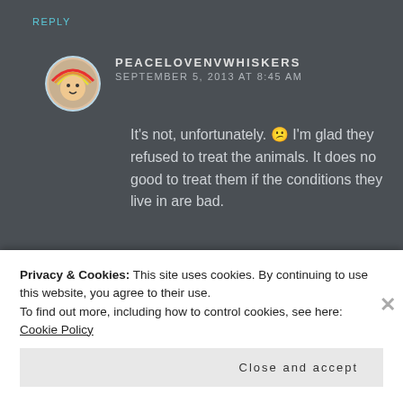REPLY
PEACELOVENVWHISKERS
SEPTEMBER 5, 2013 AT 8:45 AM
It's not, unfortunately. 😕 I'm glad they refused to treat the animals. It does no good to treat them if the conditions they live in are bad.
BAILEYBOATCAT
SEPTEMBER 5, 2013 AT 8:33 AM
Privacy & Cookies: This site uses cookies. By continuing to use this website, you agree to their use. To find out more, including how to control cookies, see here: Cookie Policy
Close and accept